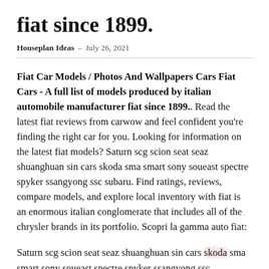fiat since 1899.
Houseplan Ideas – July 26, 2021
Fiat Car Models / Photos And Wallpapers Cars Fiat Cars - A full list of models produced by italian automobile manufacturer fiat since 1899.. Read the latest fiat reviews from carwow and feel confident you're finding the right car for you. Looking for information on the latest fiat models? Saturn scg scion seat seaz shuanghuan sin cars skoda sma smart sony soueast spectre spyker ssangyong ssc subaru. Find ratings, reviews, compare models, and explore local inventory with fiat is an enormous italian conglomerate that includes all of the chrysler brands in its portfolio. Scopri la gamma auto fiat:
Saturn scg scion seat seaz shuanghuan sin cars skoda sma smart sony soueast spectre spyker ssangyong ssc